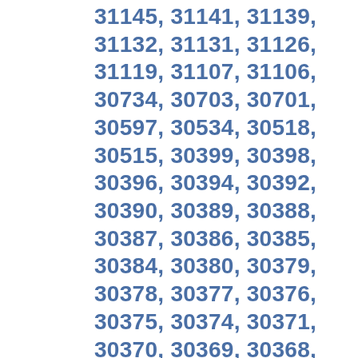31145, 31141, 31139, 31132, 31131, 31126, 31119, 31107, 31106, 30734, 30703, 30701, 30597, 30534, 30518, 30515, 30399, 30398, 30396, 30394, 30392, 30390, 30389, 30388, 30387, 30386, 30385, 30384, 30380, 30379, 30378, 30377, 30376, 30375, 30374, 30371, 30370, 30369, 30368, 30366, 30364, 30363, 30362, 30361, 30360, 30359, 30358, 30357, 30356, 30355, 30353, 30350, 30348, 30347, 30346, 30345, 30344, 30343, 30342, 30341, 30340, 30339, 30338, 30336, 30334, 30333, 30332, 30331, 30330, 30329, 30328, 30327, 30326, 30325, 30324, 30322, 30321, 30320, 30319, 30318, 30317, 30316, 30315, 30314, 30313, 30312, 30311, 30310, 30309, 30308, 30307, 30306, 30305, 30304, 30303, 30302, 30301, 30189, 30188, 30184, 30183, 30180, 30178, 30177, 30175, 30171, 30169, 30168, 30160, 30157, 30156, 30154, 30152, 30151,